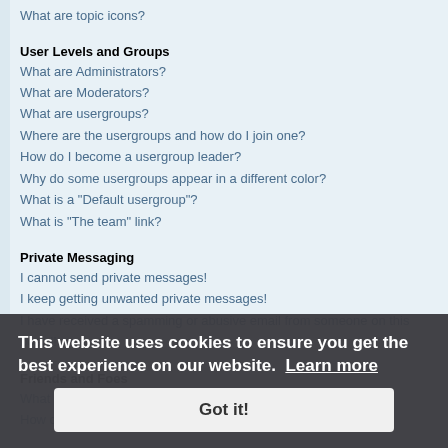What are topic icons?
User Levels and Groups
What are Administrators?
What are Moderators?
What are usergroups?
Where are the usergroups and how do I join one?
How do I become a usergroup leader?
Why do some usergroups appear in a different color?
What is a "Default usergroup"?
What is "The team" link?
Private Messaging
I cannot send private messages!
I keep getting unwanted private messages!
I have received a spamming or abusive email from someone on this board!
Friends and Foes
What are Friends and Foes?
How can I add / remove users to my Friends or Foes list?
Searching the Forums
How can I search a forum or forums?
Why does my search return no results?
Why does my search return a blank page!?
How do I search for members?
How can I find my own posts and topics?
This website uses cookies to ensure you get the best experience on our website. Learn more
Got it!